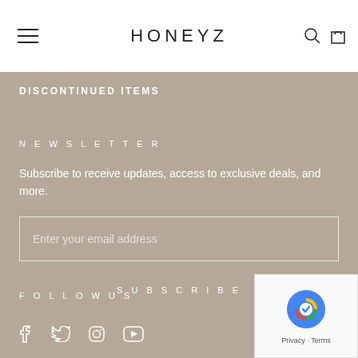HONEYZ
DISCONTINUED ITEMS
NEWSLETTER
Subscribe to receive updates, access to exclusive deals, and more.
Enter your email address
SUBSCRIBE
FOLLOW US
[Figure (logo): reCAPTCHA badge with Google logo and Privacy - Terms links]